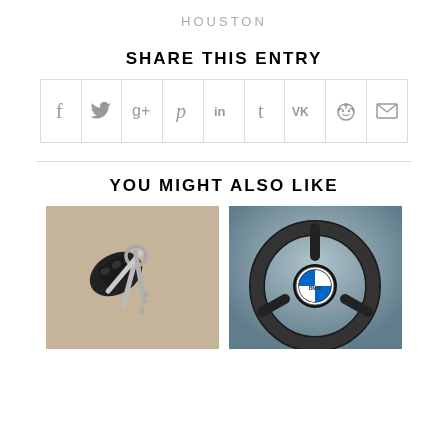HOUSTON
SHARE THIS ENTRY
[Figure (other): Share buttons row: Facebook, Twitter, Google+, Pinterest, LinkedIn, Tumblr, VK, Reddit, Email]
YOU MIGHT ALSO LIKE
[Figure (photo): Photo of car keys on a keyring]
[Figure (photo): Photo of a BMW steering wheel interior]